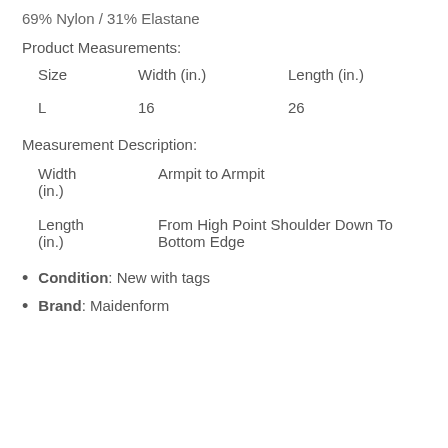69% Nylon / 31% Elastane
Product Measurements:
| Size | Width (in.) | Length (in.) |
| --- | --- | --- |
| L | 16 | 26 |
Measurement Description:
| Width (in.) | Armpit to Armpit |
| Length (in.) | From High Point Shoulder Down To Bottom Edge |
Condition: New with tags
Brand: Maidenform